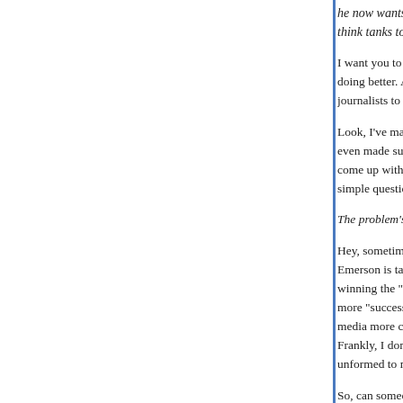he now wants me to precisely quantify the politica think tanks to liberal thinks tanks
I want you to write something, anything really, exp doing better. Are they better because they're raisi journalists to spend time at their conferences? Wh
Look, I've made answering this question as easy even made suggestions about what you might me come up with an explanation by yourself. But you simple question.
The problem's with him as far as I'm concerned.
Hey, sometimes, I'm dumb. So: can anyone, anyc Emerson is talking about when he writes that con winning the "game" over liberal think tanks and h more "successful" and maybe even how this "suc media more conservative? I've got no idea what J Frankly, I don't think anyone does because his thi unformed to me. But maybe I'm wrong.
So, can someone please explain what he's talking
Posted by: Turbulence | February 15, 2011 at 12:59 PM